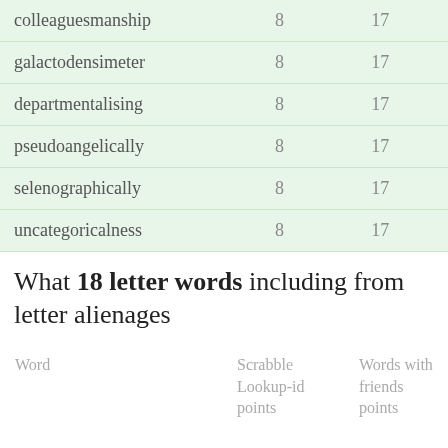| Word | Scrabble Lookup-id points | Words with friends points |
| --- | --- | --- |
| colleaguesmanship | 8 | 17 |
| galactodensimeter | 8 | 17 |
| departmentalising | 8 | 17 |
| pseudoangelically | 8 | 17 |
| selenographically | 8 | 17 |
| uncategoricalness | 8 | 17 |
What 18 letter words including from letter alienages
| Word | Scrabble Lookup-id points | Words with friends points |
| --- | --- | --- |